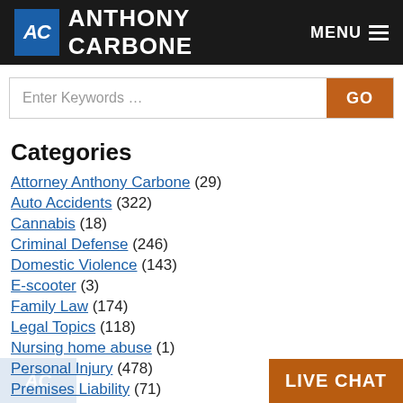ANTHONY CARBONE | MENU
Enter Keywords ...
Categories
Attorney Anthony Carbone (29)
Auto Accidents (322)
Cannabis (18)
Criminal Defense (246)
Domestic Violence (143)
E-scooter (3)
Family Law (174)
Legal Topics (118)
Nursing home abuse (1)
Personal Injury (478)
Premises Liability (71)
Product Liability (12)
Slip and Falls (164)
LIVE CHAT